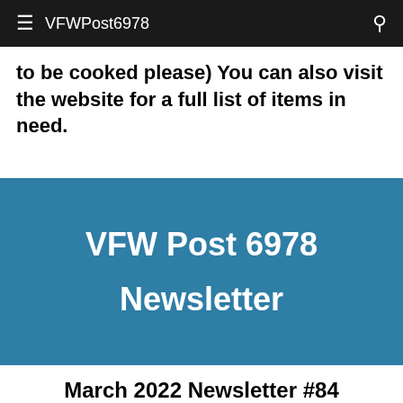VFWPost6978
to be cooked please) You can also visit the website for a full list of items in need.
VFW Post 6978 Newsletter
March 2022 Newsletter #84